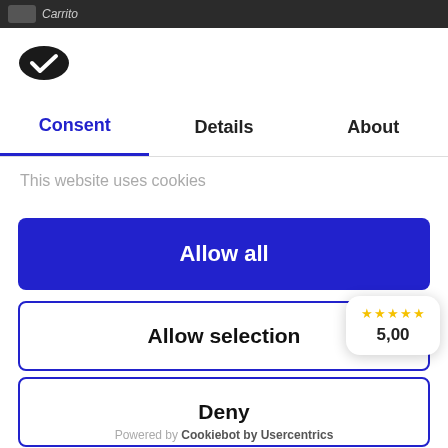[Figure (screenshot): Top browser bar with dark background showing partial site logo/text]
[Figure (logo): Cookiebot/Usercentrics logo - black oval with white checkmark]
Consent	Details	About
This website uses cookies
Allow all
Allow selection
Deny
★★★★★ 5,00
Powered by Cookiebot by Usercentrics